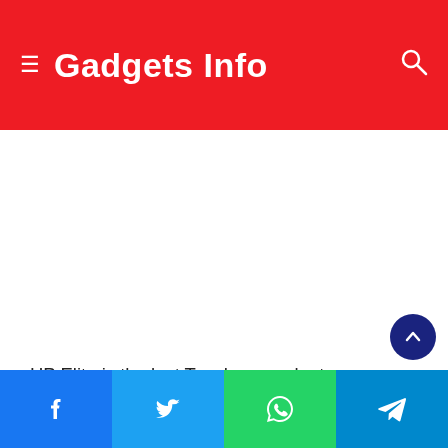Gadgets Info
[Figure (other): Advertisement or blank white space area]
HP Elite is the last Touchscreen laptop on our list. Elite Dragonfly G2 is a touchscreen laptop with cutting-edge technology and a slim design on the HP lineup. The Laptop can be used as a Laptop or tablet. The Laptop is suitable for Student who needs to carry and create notes for their study.
Facebook | Twitter | WhatsApp | Telegram